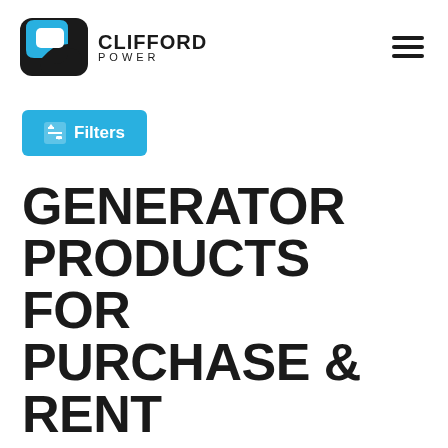[Figure (logo): Clifford Power logo with blue/black icon and text CLIFFORD POWER]
[Figure (other): Hamburger menu icon (three horizontal lines)]
[Figure (other): Blue Filters button with filter/sort icon]
GENERATOR PRODUCTS FOR PURCHASE & RENT
[Figure (other): IN-STOCK INVENTORY button with external link icon]
Results: 136